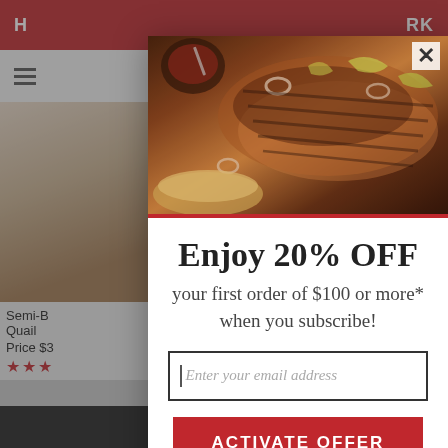[Figure (screenshot): Website background showing a meat/butcher shop e-commerce site with red header bar, navigation, and product cards, partially visible behind a modal popup overlay]
[Figure (photo): Photo of sliced BBQ brisket on a cutting board with sauce bowl, onion rings, and pickled peppers, used as the modal header image]
Enjoy 20% OFF
your first order of $100 or more* when you subscribe!
Enter your email address
ACTIVATE OFFER